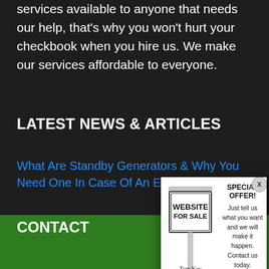services available to anyone that needs our help, that's why you won't hurt your checkbook when you hire us. We make our services affordable to everyone.
LATEST NEWS & ARTICLES
What Are Standby Generators & Why You Need One In Case Of An Electric Blackout
Helpful Tips P... gy Efficiency Of Your Home...
Tips For Findi... rician in Your Area
CONTACT
[Figure (infographic): Modal popup advertisement for a website for sale. Left side shows a real estate-style sign reading 'WEBSITE FOR SALE' with 'Turn Key' and phone number '727-639-7078'. Right side shows 'SPECIAL OFFER! Just tell us what you want and we will make it happen. Contact us today.' Bottom red banner: 'Looking to buy a website for your business? We have a range of websites for sale that have been professionally vetted by our experienced team.' Close button X in top right corner.]